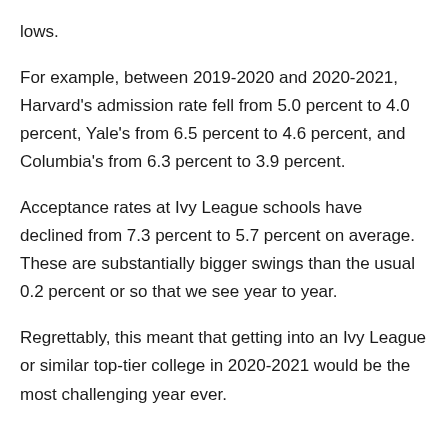lows.
For example, between 2019-2020 and 2020-2021, Harvard's admission rate fell from 5.0 percent to 4.0 percent, Yale's from 6.5 percent to 4.6 percent, and Columbia's from 6.3 percent to 3.9 percent.
Acceptance rates at Ivy League schools have declined from 7.3 percent to 5.7 percent on average. These are substantially bigger swings than the usual 0.2 percent or so that we see year to year.
Regrettably, this meant that getting into an Ivy League or similar top-tier college in 2020-2021 would be the most challenging year ever.